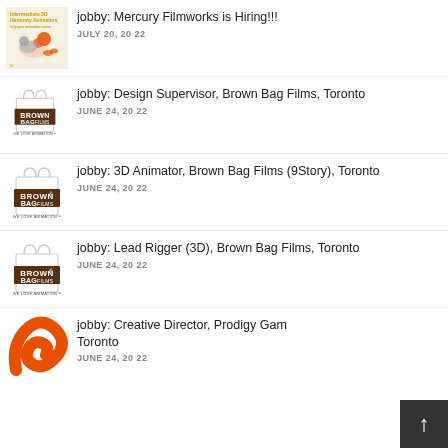jobby: Mercury Filmworks is Hiring!!!
JULY 20, 2022
jobby: Design Supervisor, Brown Bag Films, Toronto
JUNE 24, 2022
jobby: 3D Animator, Brown Bag Films (9Story), Toronto
JUNE 24, 2022
jobby: Lead Rigger (3D), Brown Bag Films, Toronto
JUNE 24, 2022
jobby: Creative Director, Prodigy Game, Toronto
JUNE 24, 2022